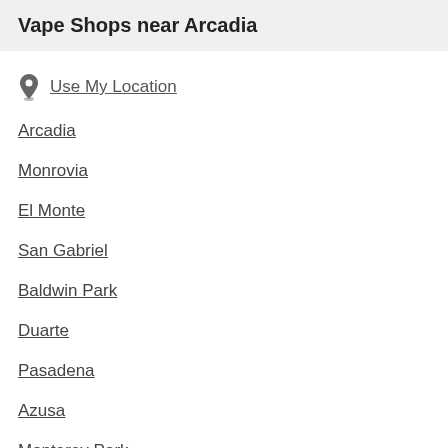Vape Shops near Arcadia
Use My Location
Arcadia
Monrovia
El Monte
San Gabriel
Baldwin Park
Duarte
Pasadena
Azusa
Monterey Park
La Puente